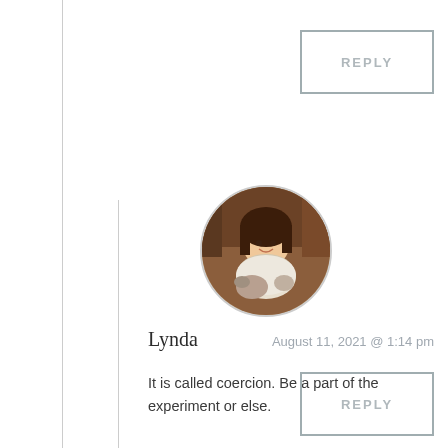[Figure (other): REPLY button at top right, gray border box with gray text]
[Figure (photo): Circular avatar photo of a woman named Lynda holding a small dog, brown tones]
Lynda    August 11, 2021 @ 1:14 pm
It is called coercion. Be a part of the experiment or else.
[Figure (other): REPLY button at bottom right, gray border box with gray text]